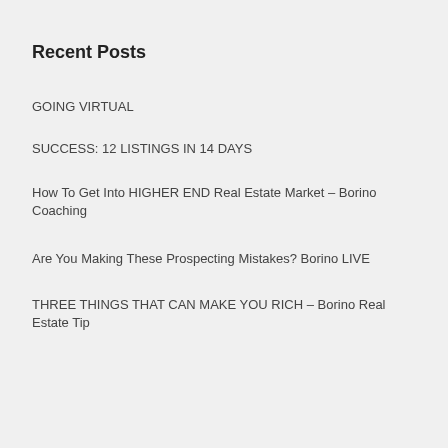Recent Posts
GOING VIRTUAL
SUCCESS: 12 LISTINGS IN 14 DAYS
How To Get Into HIGHER END Real Estate Market – Borino Coaching
Are You Making These Prospecting Mistakes? Borino LIVE
THREE THINGS THAT CAN MAKE YOU RICH – Borino Real Estate Tip